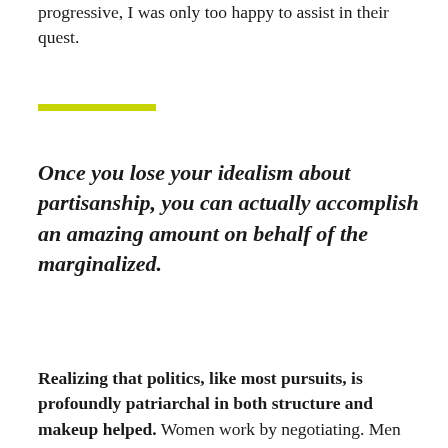progressive, I was only too happy to assist in their quest.
[Figure (other): Yellow/lime green horizontal rule divider]
Once you lose your idealism about partisanship, you can actually accomplish an amazing amount on behalf of the marginalized.
Realizing that politics, like most pursuits, is profoundly patriarchal in both structure and makeup helped. Women work by negotiating. Men